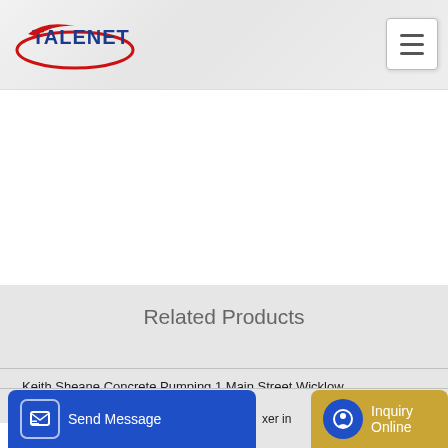[Figure (logo): Talenet company logo with red oval and blue text]
Related Products
Keith Sheane Concrete Pumping 1 Main Street Wicklow
Global USA Concrete Mixers Equipment Market Trends Analysis
xer in
Send Message
Inquiry Online